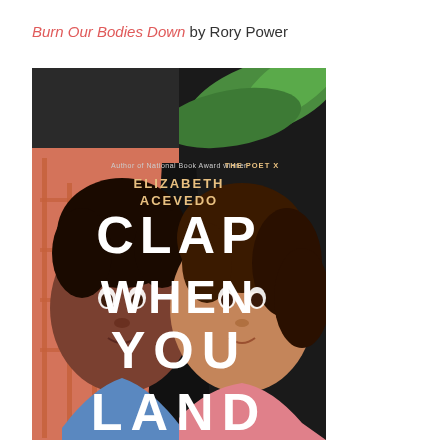Burn Our Bodies Down by Rory Power
[Figure (illustration): Book cover of 'Clap When You Land' by Elizabeth Acevedo. The cover shows two young women's faces side by side, split down the middle. The left half shows a dark-skinned girl with natural hair against a salmon/brick background with fire escape stairs. The right half shows a lighter-skinned girl with curly hair against a tropical green leaf background. Large white bold text reads 'CLAP WHEN YOU LAND'. Smaller text at top reads 'Author of National Book Award winner THE POET X' and 'ELIZABETH ACEVEDO'. The center of the cover has a dark triangular shape like a plane tail or obelisk.]